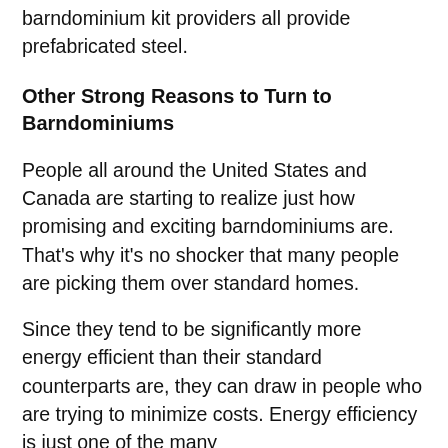barndominium kit providers all provide prefabricated steel.
Other Strong Reasons to Turn to Barndominiums
People all around the United States and Canada are starting to realize just how promising and exciting barndominiums are. That's why it's no shocker that many people are picking them over standard homes.
Since they tend to be significantly more energy efficient than their standard counterparts are, they can draw in people who are trying to minimize costs. Energy efficiency is just one of the many